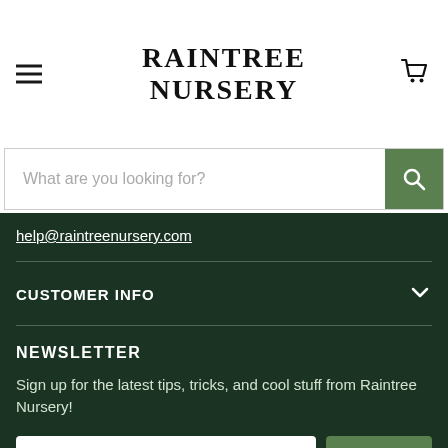[Figure (logo): Raintree Nursery logo with hamburger menu icon on left and cart icon on right]
What are you looking for?
help@raintreenursery.com
CUSTOMER INFO
NEWSLETTER
Sign up for the latest tips, tricks, and cool stuff from Raintree Nursery!
Email address
Sign up